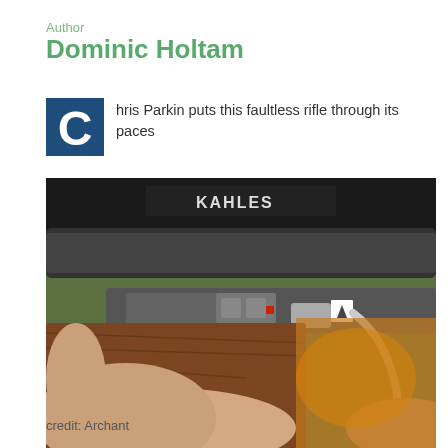Author
Dominic Holtam
Chris Parkin puts this faultless rifle through its paces
[Figure (photo): Close-up photograph of a bolt-action rifle with a Kahles scope mounted on top, being held by a person's hand. The bolt handle with a black ball knob is visible in the foreground, and a wooden stock is visible in the background. The text 'KAHLES' is visible on the scope rail.]
credit: Archant